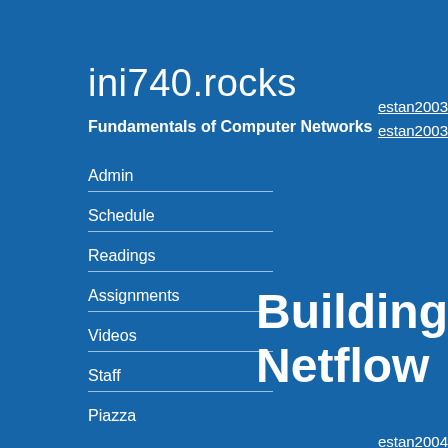ini740.rocks
Fundamentals of Computer Networks
Admin
Schedule
Readings
Assignments
Videos
Staff
Piazza
estan2003
estan2003
Building
Netflow
estan2004
estan2004
Random
Detection
Gateway